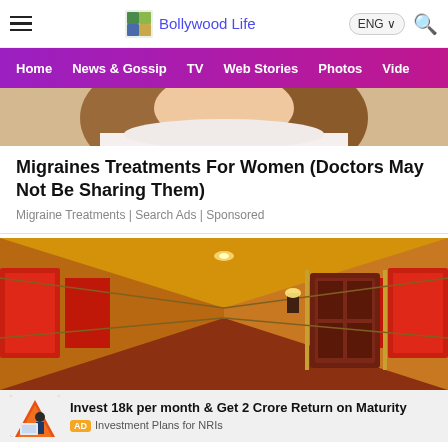Bollywood Life
[Figure (screenshot): Website navigation bar with Home, News & Gossip, TV, Web Stories, Photos, Video links on purple/magenta gradient background]
[Figure (photo): Cropped photo of a woman with brown hair, partial face visible]
Migraines Treatments For Women (Doctors May Not Be Sharing Them)
Migraine Treatments | Search Ads | Sponsored
[Figure (photo): Ornate hotel corridor with red walls, gold trim, decorative doors, and warm lighting]
Invest 18k per month & Get 2 Crore Return on Maturity
AD Investment Plans for NRIs